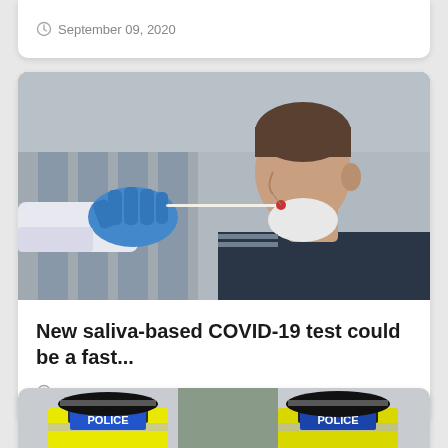September 09, 2020
[Figure (photo): Medical professional in blue gloves administering a nasal swab COVID-19 test to a man wearing a dark uniform]
New saliva-based COVID-19 test could be a fast...
September 09, 2020
[Figure (photo): Two police officers from behind wearing yellow high-visibility jackets with POLICE written on them]